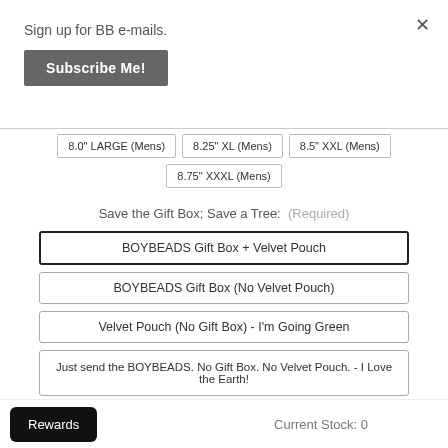Sign up for BB e-mails.
Subscribe Me!
×
8.0" LARGE (Mens)
8.25" XL (Mens)
8.5" XXL (Mens)
8.75" XXXL (Mens)
Save the Gift Box; Save a Tree:  (Required)
BOYBEADS Gift Box + Velvet Pouch
BOYBEADS Gift Box (No Velvet Pouch)
Velvet Pouch (No Gift Box) - I'm Going Green
Just send the BOYBEADS. No Gift Box. No Velvet Pouch. - I Love the Earth!
Rewards
Current Stock: 0